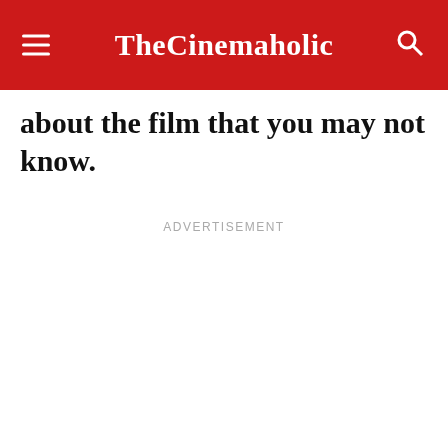TheCinemaholic
about the film that you may not know.
ADVERTISEMENT